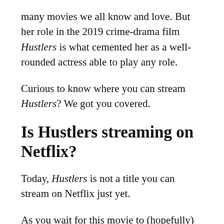many movies we all know and love. But her role in the 2019 crime-drama film Hustlers is what cemented her as a well-rounded actress able to play any role.
Curious to know where you can stream Hustlers? We got you covered.
Is Hustlers streaming on Netflix?
Today, Hustlers is not a title you can stream on Netflix just yet.
As you wait for this movie to (hopefully) arrive on the streaming platform, watch Jennifer Lopez star in other titles on the site, such as Anaconda and